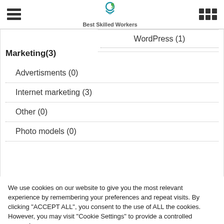Best Skilled Workers
WordPress (1)
Marketing(3)
Advertisments (0)
Internet marketing (3)
Other (0)
Photo models (0)
We use cookies on our website to give you the most relevant experience by remembering your preferences and repeat visits. By clicking "ACCEPT ALL", you consent to the use of ALL the cookies. However, you may visit "Cookie Settings" to provide a controlled consent.
Cookie Settings | REJECT ALL | ACCEPT ALL